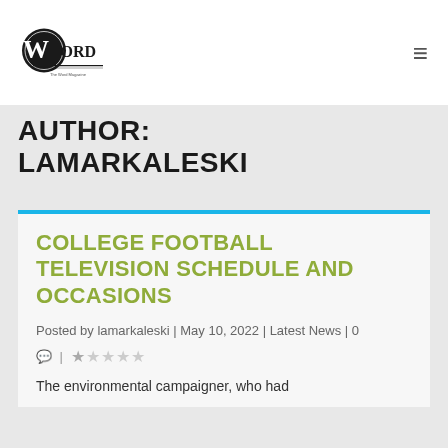[Figure (logo): The Word newspaper logo — circular black emblem with 'Word' text and decorative underline]
AUTHOR: LAMARKALESKI
COLLEGE FOOTBALL TELEVISION SCHEDULE AND OCCASIONS
Posted by lamarkaleski | May 10, 2022 | Latest News | 0
The environmental campaigner, who had